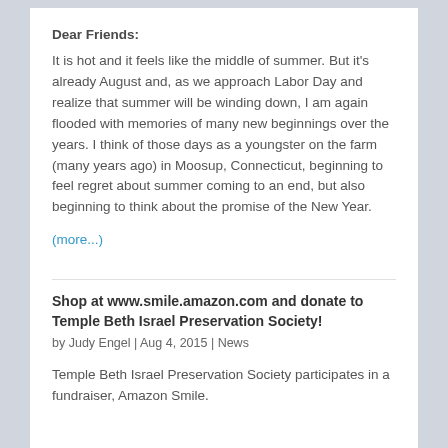Dear Friends:
It is hot and it feels like the middle of summer. But it's already August and, as we approach Labor Day and realize that summer will be winding down, I am again flooded with memories of many new beginnings over the years. I think of those days as a youngster on the farm (many years ago) in Moosup, Connecticut, beginning to feel regret about summer coming to an end, but also beginning to think about the promise of the New Year.
(more...)
Shop at www.smile.amazon.com and donate to Temple Beth Israel Preservation Society!
by Judy Engel | Aug 4, 2015 | News
Temple Beth Israel Preservation Society participates in a fundraiser, Amazon Smile.